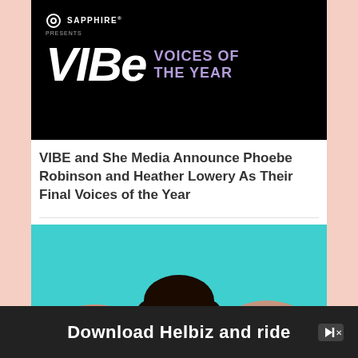[Figure (logo): VIBE Voices of the Year logo on black background, presented by Sapphire]
VIBE and She Media Announce Phoebe Robinson and Heather Lowery As Their Final Voices of the Year
[Figure (photo): A woman with glasses and hoop earrings resting her chin on her hand, smiling, on a teal and orange background]
[Figure (screenshot): Advertisement banner: Download Helbiz and ride]